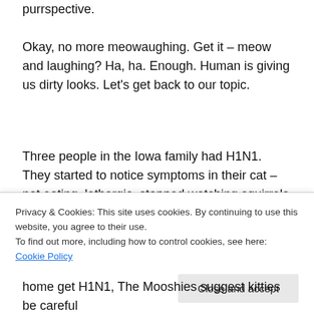purrspective.
Okay, no more meowaughing. Get it – meow and laughing? Ha, ha. Enough. Human is giving us dirty looks. Let's get back to our topic.
Three people in the Iowa family had H1N1. They started to notice symptoms in their cat – not eating, lethargic, stopped watching squirrels (that's a BIG symptom). This Iowa case shows that it's possible for humans to transmit H1N1 to cats.
So what, you ask, do you do about the chances of your cat
Privacy & Cookies: This site uses cookies. By continuing to use this website, you agree to their use. To find out more, including how to control cookies, see here: Cookie Policy
home get H1N1, The Mooshies suggest kitties be careful